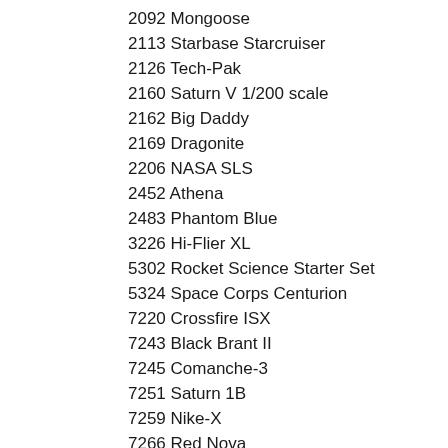2092 Mongoose
2113 Starbase Starcruiser
2126 Tech-Pak
2160 Saturn V 1/200 scale
2162 Big Daddy
2169 Dragonite
2206 NASA SLS
2452 Athena
2483 Phantom Blue
3226 Hi-Flier XL
5302 Rocket Science Starter Set
5324 Space Corps Centurion
7220 Crossfire ISX
7243 Black Brant II
7245 Comanche-3
7251 Saturn 1B
7259 Nike-X
7266 Red Nova